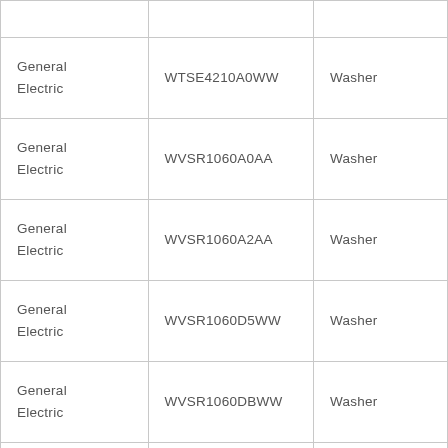| General Electric | WTSE4210A0WW | Washer |
| General Electric | WVSR1060A0AA | Washer |
| General Electric | WVSR1060A2AA | Washer |
| General Electric | WVSR1060D5WW | Washer |
| General Electric | WVSR1060DBWW | Washer |
| General Electric |  |  |